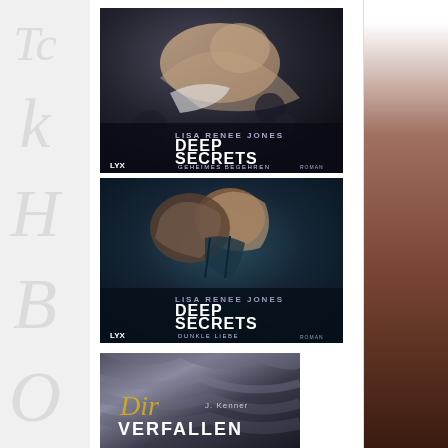[Figure (photo): Book cover: Lisa Renee Jones - Deep Secrets: Geheimes Begehren (LYX), woman lying down in dim light]
[Figure (photo): Book cover: Lisa Renee Jones - Deep Secrets: Dunkle Liebe (LYX), couple embracing in blue-toned light]
[Figure (photo): Book cover: Dir Verfallen by J. Kenner, dark silky fabric, partial view]